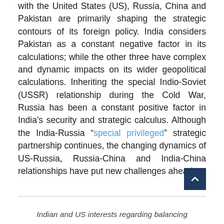with the United States (US), Russia, China and Pakistan are primarily shaping the strategic contours of its foreign policy. India considers Pakistan as a constant negative factor in its calculations; while the other three have complex and dynamic impacts on its wider geopolitical calculations. Inheriting the special Indio-Soviet (USSR) relationship during the Cold War, Russia has been a constant positive factor in India's security and strategic calculus. Although the India-Russia "special privileged" strategic partnership continues, the changing dynamics of US-Russia, Russia-China and India-China relationships have put new challenges ahead.
Indian and US interests regarding balancing